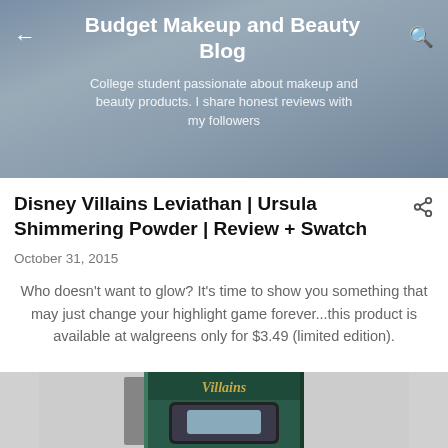Budget Makeup and Beauty Blog
College student passionate about makeup and beauty products. I share honest reviews with my followers
Disney Villains Leviathan | Ursula Shimmering Powder | Review + Swatch
October 31, 2015
Who doesn't want to glow? It's time to show you something that may just change your highlight game forever...this product is available at walgreens only for $3.49 (limited edition).
[Figure (photo): Photo of Disney Villains product in packaging box]